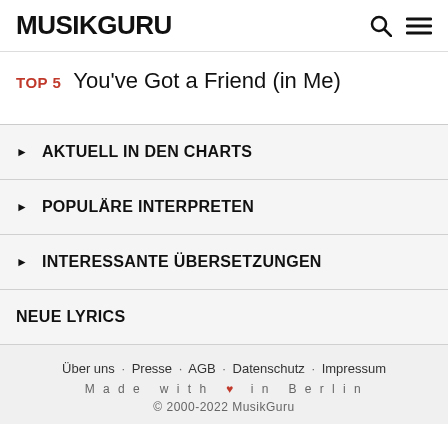MUSIKGURU
TOP 5  You've Got a Friend (in Me)
AKTUELL IN DEN CHARTS
POPULÄRE INTERPRETEN
INTERESSANTE ÜBERSETZUNGEN
NEUE LYRICS
Über uns · Presse · AGB · Datenschutz · Impressum
Made with ♥ in Berlin
© 2000-2022 MusikGuru